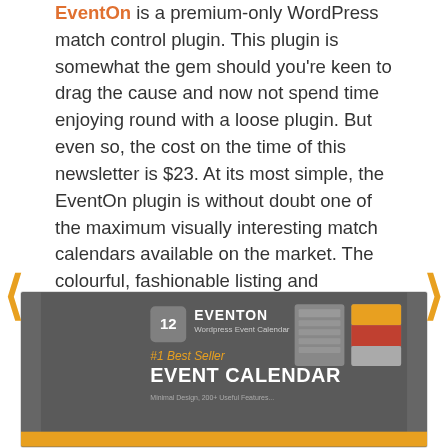EventOn is a premium-only WordPress match control plugin. This plugin is somewhat the gem should you're keen to drag the cause and now not spend time enjoying round with a loose plugin. But even so, the cost on the time of this newsletter is $23. At its most simple, the EventOn plugin is without doubt one of the maximum visually interesting match calendars available on the market. The colourful, fashionable listing and calendar layouts beat out just about the entire plugins in this listing. Specifics equivalent to occasions, places, and match cancellations are all displayed proper at the primary calendar web page. There's additionally a wonderful tile format that appears rather like a portfolio, except for with all your occasions indexed.
[Figure (screenshot): EventOn WordPress Event Calendar plugin promotional banner on a dark gray background showing logo, #1 Best Seller EVENT CALENDAR text, and preview card thumbnails]